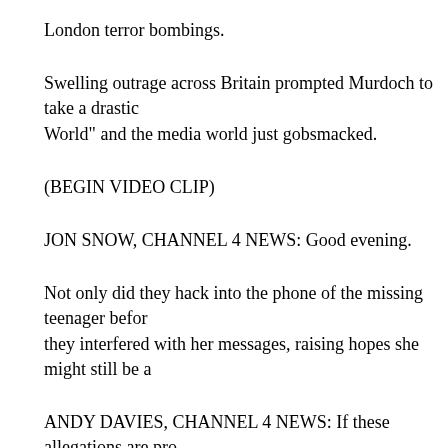London terror bombings.
Swelling outrage across Britain prompted Murdoch to take a drastic... World" and the media world just gobsmacked.
(BEGIN VIDEO CLIP)
JON SNOW, CHANNEL 4 NEWS: Good evening.
Not only did they hack into the phone of the missing teenager befo... they interfered with her messages, raising hopes she might still be a...
ANDY DAVIES, CHANNEL 4 NEWS: If these allegations are pro... staggering -- another staggering development in this whole phone-h...
JEREMY THOMPSON, SKY NEWS: The "News of the World" is...